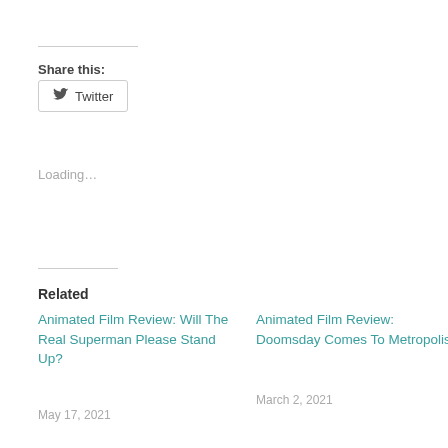Share this:
Twitter
Loading...
Related
Animated Film Review: Will The Real Superman Please Stand Up?
May 17, 2021
Animated Film Review: Doomsday Comes To Metropolis
March 2, 2021
Film Review: Riddles